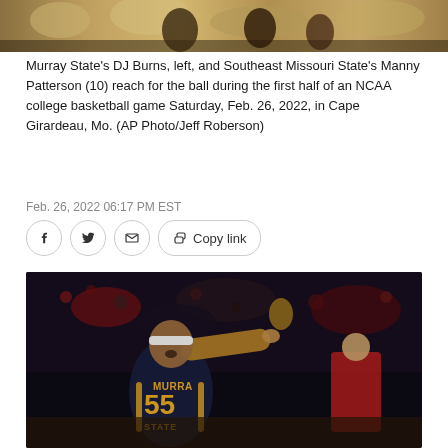[Figure (photo): Top portion of a basketball game photo showing players reaching for ball, cropped]
Murray State's DJ Burns, left, and Southeast Missouri State's Manny Patterson (10) reach for the ball during the first half of an NCAA college basketball game Saturday, Feb. 26, 2022, in Cape Girardeau, Mo. (AP Photo/Jeff Roberson)
Feb. 26, 2022 06:17 PM EST
[Figure (other): Social sharing buttons row: Facebook, Twitter, Email icons, and Copy link button]
[Figure (photo): Murray State player #55 in navy and gold uniform pointing finger, celebrating on court, with crowd and coach in red jacket visible in background]